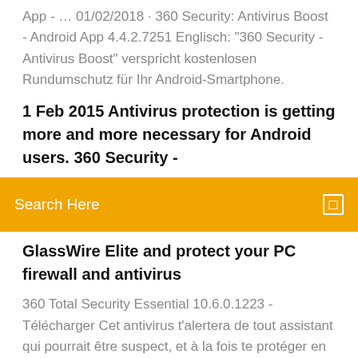App - … 01/02/2018 · 360 Security: Antivirus Boost - Android App 4.4.2.7251 Englisch: "360 Security - Antivirus Boost" verspricht kostenlosen Rundumschutz für Ihr Android-Smartphone.
1 Feb 2015 Antivirus protection is getting more and more necessary for Android users. 360 Security -
[Figure (screenshot): Orange search bar with text 'Search Here' and a small square icon on the right]
GlassWire Elite and protect your PC firewall and antivirus
360 Total Security Essential 10.6.0.1223 - Télécharger Cet antivirus t'alertera de tout assistant qui pourrait être suspect, et à la fois te protéger en ligne de sites dangereux qui pourraient parfois apparaître sous forme de fenêtres indésirables. Dès que 360 Internet Security trouve un élément infecté, il l'élimine immédiatement. Cet … 360 Security: Antivirus Boost - Android App - … 01/02/2018 · 360 Security: Antivirus Boost - Android App